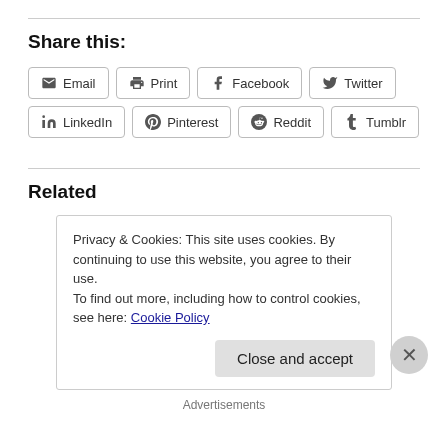Share this:
[Figure (other): Social share buttons: Email, Print, Facebook, Twitter, LinkedIn, Pinterest, Reddit, Tumblr]
Related
Privacy & Cookies: This site uses cookies. By continuing to use this website, you agree to their use. To find out more, including how to control cookies, see here: Cookie Policy
Close and accept
Advertisements